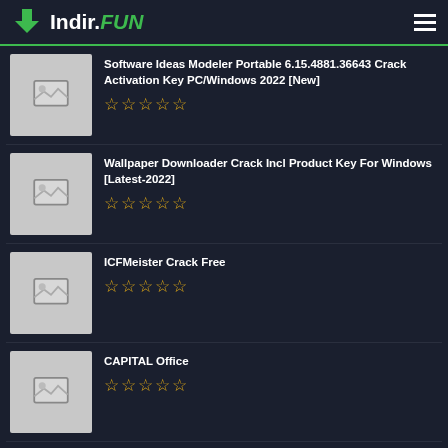Indir.FUN
Software Ideas Modeler Portable 6.15.4881.36643 Crack Activation Key PC/Windows 2022 [New]
Wallpaper Downloader Crack Incl Product Key For Windows [Latest-2022]
ICFMeister Crack Free
CAPITAL Office
BENCOS [32| 64bit]